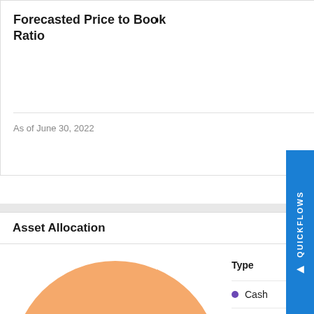Forecasted Price to Book Ratio
Upgrade
As of June 30, 2022
Asset Allocation
[Figure (pie-chart): Asset Allocation]
Cash
Stock
Bond
Convertible
Preferred
Other